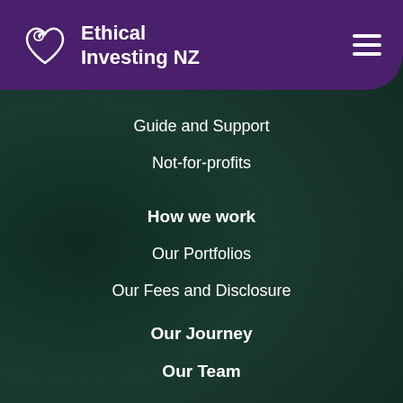Ethical Investing NZ
Guide and Support
Not-for-profits
How we work
Our Portfolios
Our Fees and Disclosure
Our Journey
Our Team
Our Impact
What is ethical investing?
Blog / News